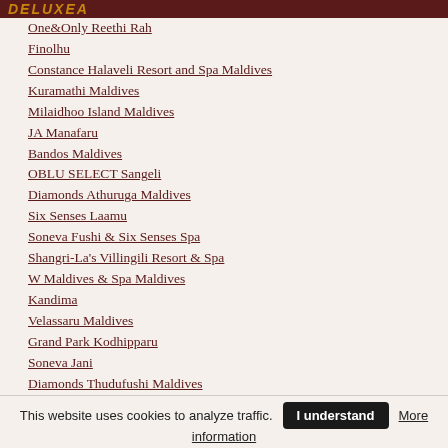DELUXEA
One&Only Reethi Rah
Finolhu
Constance Halaveli Resort and Spa Maldives
Kuramathi Maldives
Milaidhoo Island Maldives
JA Manafaru
Bandos Maldives
OBLU SELECT Sangeli
Diamonds Athuruga Maldives
Six Senses Laamu
Soneva Fushi & Six Senses Spa
Shangri-La's Villingili Resort & Spa
W Maldives & Spa Maldives
Kandima
Velassaru Maldives
Grand Park Kodhipparu
Soneva Jani
Diamonds Thudufushi Maldives
Baros Maldives
Sun Siyam Vilu Reef
Park Hyatt Maldives Hadahaa
This website uses cookies to analyze traffic. I understand More information